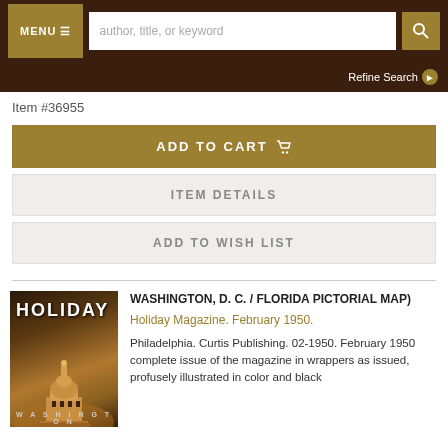MENU ☰  [search: author, title, or keyword]  🔍  Refine Search ▶
Item #36955
ADD TO CART 🛒
ITEM DETAILS
ADD TO WISH LIST
[Figure (photo): Cover of Holiday Magazine February 1950 showing illuminated US Capitol building at night with 'HOLIDAY' text at top and 'WASHINGTON' at bottom]
WASHINGTON, D. C. / FLORIDA PICTORIAL MAP)
Holiday Magazine. February 1950.
Philadelphia. Curtis Publishing. 02-1950. February 1950 complete issue of the magazine in wrappers as issued, profusely illustrated in color and black